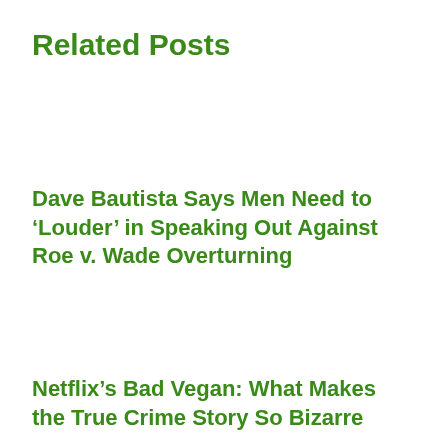Related Posts
Dave Bautista Says Men Need to ‘Louder’ in Speaking Out Against Roe v. Wade Overturning
Netflix’s Bad Vegan: What Makes the True Crime Story So Bizarre